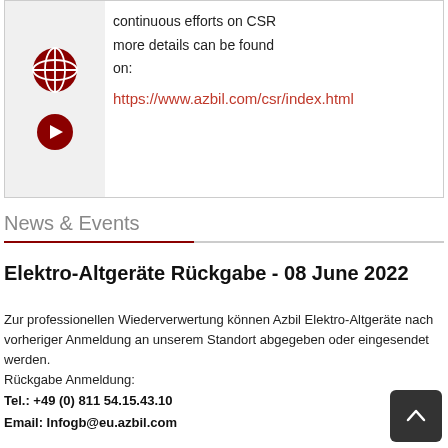[Figure (infographic): Box with dark red globe icon and dark red arrow/circle icon on grey left panel, with text about continuous efforts on CSR and a link]
continuous efforts on CSR more details can be found on:
https://www.azbil.com/csr/index.html
News & Events
Elektro-Altgeräte Rückgabe - 08 June 2022
Zur professionellen Wiederverwertung können Azbil Elektro-Altgeräte nach vorheriger Anmeldung an unserem Standort abgegeben oder eingesendet werden. Rückgabe Anmeldung:
Tel.: +49 (0) 811 54.15.43.10
Email: Infogb@eu.azbil.com